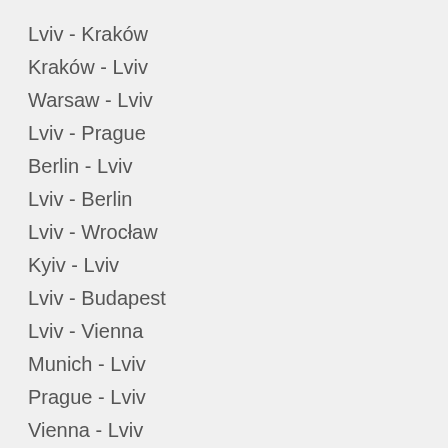Lviv - Kraków
Kraków - Lviv
Warsaw - Lviv
Lviv - Prague
Berlin - Lviv
Lviv - Berlin
Lviv - Wrocław
Kyiv - Lviv
Lviv - Budapest
Lviv - Vienna
Munich - Lviv
Prague - Lviv
Vienna - Lviv
Lviv - Katowice
Katowice - Lviv